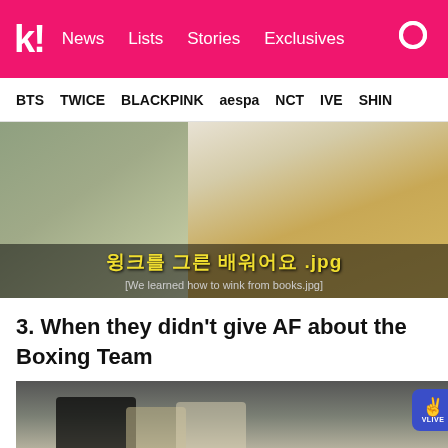koreaboo — News  Lists  Stories  Exclusives
BTS  TWICE  BLACKPINK  aespa  NCT  IVE  SHINE
[Figure (photo): Two people in casual jackets with Korean text overlay reading 윙크를 그른 배워어요.jpg and English subtitle [We learned how to wink from books.jpg]]
3. When they didn't give AF about the Boxing Team
[Figure (photo): Group of young men in a kitchen/cooking setting, with a VLIVE badge in the top right corner]